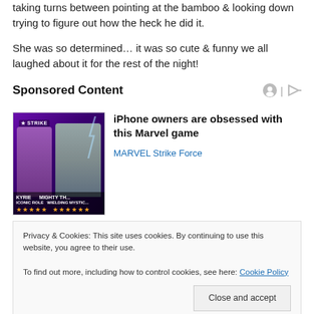taking turns between pointing at the bamboo & looking down trying to figure out how the heck he did it.
She was so determined… it was so cute & funny we all laughed about it for the rest of the night!
Sponsored Content
[Figure (illustration): Advertisement image for MARVEL Strike Force game showing two characters: KYRIE and MIGHTY THOR with star ratings]
iPhone owners are obsessed with this Marvel game
MARVEL Strike Force
Privacy & Cookies: This site uses cookies. By continuing to use this website, you agree to their use.
To find out more, including how to control cookies, see here: Cookie Policy
Close and accept